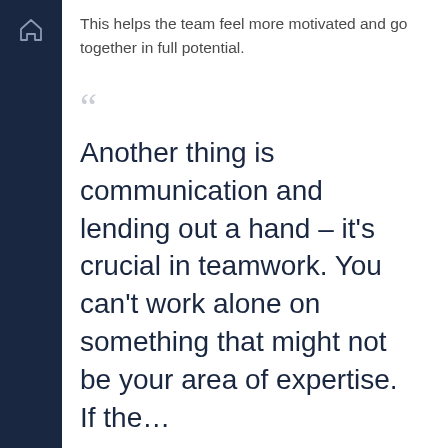This helps the team feel more motivated and go together in full potential.
Another thing is communication and lending out a hand – it's crucial in teamwork. You can't work alone on something that might not be your area of expertise. If the…